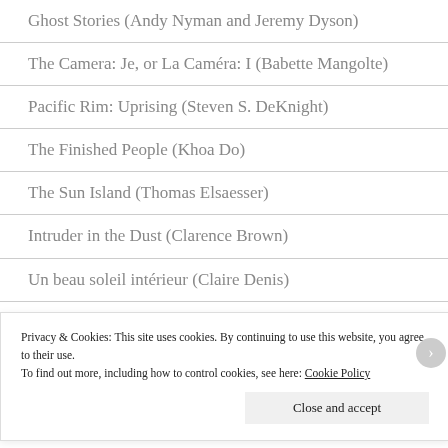Ghost Stories (Andy Nyman and Jeremy Dyson)
The Camera: Je, or La Caméra: I (Babette Mangolte)
Pacific Rim: Uprising (Steven S. DeKnight)
The Finished People (Khoa Do)
The Sun Island (Thomas Elsaesser)
Intruder in the Dust (Clarence Brown)
Un beau soleil intérieur (Claire Denis)
The Wound (John Trengove)
Avengers: Infinity War (Anthony and Joe Russo)
Privacy & Cookies: This site uses cookies. By continuing to use this website, you agree to their use. To find out more, including how to control cookies, see here: Cookie Policy